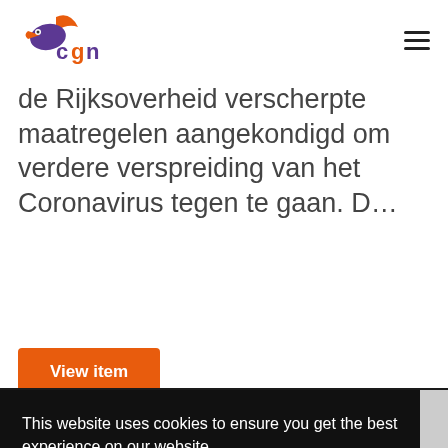[Figure (logo): CGN logo with orange and purple bird/arrow graphic and 'cgn' text in purple/orange]
de Rijksoverheid verscherpte maatregelen aangekondigd om verdere verspreiding van het Coronavirus tegen te gaan. D…
View item
This website uses cookies to ensure you get the best experience on our website.
Learn more
Got it!